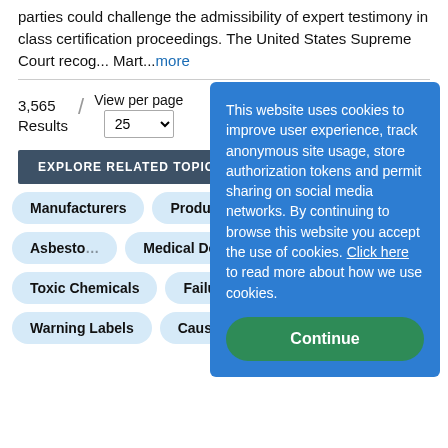parties could challenge the admissibility of expert testimony in class certification proceedings. The United States Supreme Court recog... Mart...more
3,565 Results / View per page 25
EXPLORE RELATED TOPICS
Manufacturers
Product...
Toxic Exposure
Asbesto...
Medical Devices
Produc...
Toxic Chemicals
Failure...
Proposition 65
Warning Labels
Causation
This website uses cookies to improve user experience, track anonymous site usage, store authorization tokens and permit sharing on social media networks. By continuing to browse this website you accept the use of cookies. Click here to read more about how we use cookies.